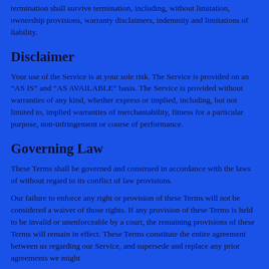termination shall survive termination, including, without limitation, ownership provisions, warranty disclaimers, indemnity and limitations of liability.
Disclaimer
Your use of the Service is at your sole risk. The Service is provided on an “AS IS” and “AS AVAILABLE” basis. The Service is provided without warranties of any kind, whether express or implied, including, but not limited to, implied warranties of merchantability, fitness for a particular purpose, non-infringement or course of performance.
Governing Law
These Terms shall be governed and construed in accordance with the laws of without regard to its conflict of law provisions.
Our failure to enforce any right or provision of these Terms will not be considered a waiver of those rights. If any provision of these Terms is held to be invalid or unenforceable by a court, the remaining provisions of these Terms will remain in effect. These Terms constitute the entire agreement between us regarding our Service, and supersede and replace any prior agreements we might